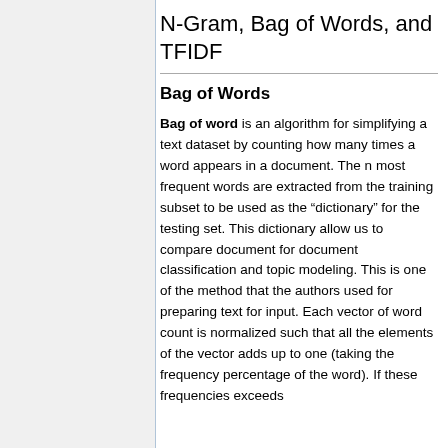N-Gram, Bag of Words, and TFIDF
Bag of Words
Bag of word is an algorithm for simplifying a text dataset by counting how many times a word appears in a document. The n most frequent words are extracted from the training subset to be used as the “dictionary” for the testing set. This dictionary allow us to compare document for document classification and topic modeling. This is one of the method that the authors used for preparing text for input. Each vector of word count is normalized such that all the elements of the vector adds up to one (taking the frequency percentage of the word). If these frequencies exceeds